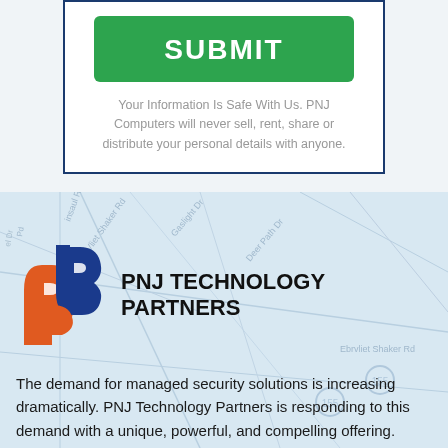SUBMIT
Your Information Is Safe With Us. PNJ Computers will never sell, rent, share or distribute your personal details with anyone.
[Figure (map): Street map background showing roads including Vliet Shaker Rd, Ervliet Shaker Rd, route 155 markers, and other local roads in light blue/gray tones.]
[Figure (logo): PNJ Technology Partners logo: interlocking P shapes in orange and dark blue on left, bold text PNJ TECHNOLOGY PARTNERS on right.]
The demand for managed security solutions is increasing dramatically. PNJ Technology Partners is responding to this demand with a unique, powerful, and compelling offering.